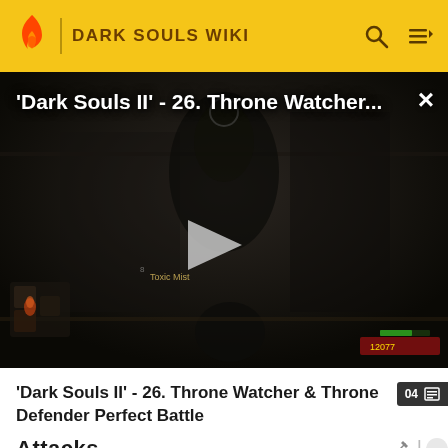DARK SOULS WIKI
[Figure (screenshot): Dark Souls II gameplay screenshot showing boss fight with Throne Watcher, dark dungeon environment with player UI visible]
'Dark Souls II' - 26. Throne Watcher & Throne Defender Perfect Battle
Attacks
???